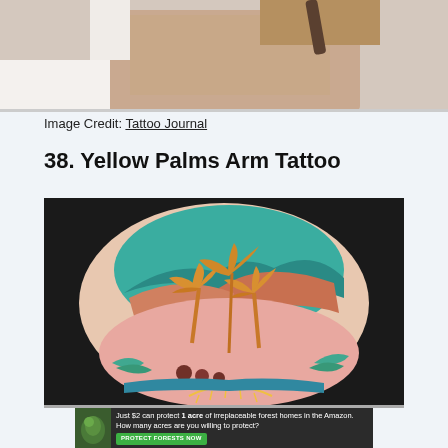[Figure (photo): Close-up photo of a person's arm/shoulder area wearing a white shirt, partially visible. Dark strap visible in background.]
Image Credit: Tattoo Journal
38. Yellow Palms Arm Tattoo
[Figure (photo): Photo of a colorful arm tattoo on a shoulder featuring yellow/orange palm trees, teal sky, salmon/pink mountains, purple shadows, and a sun rising at the bottom, on a dark background.]
[Figure (photo): Advertisement banner: 'Just $2 can protect 1 acre of irreplaceable forest homes in the Amazon. How many acres are you willing to protect?' with a green 'Protect Forests Now' button and a forest photo thumbnail.]